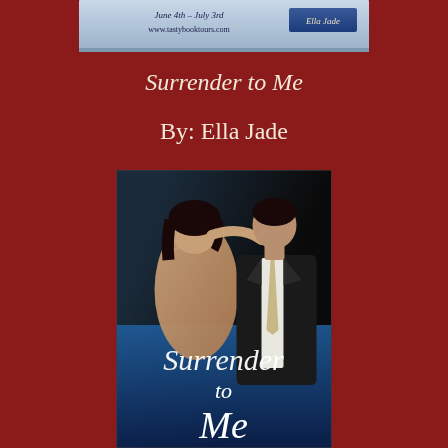[Figure (illustration): Book tour banner with text 'June 4th – July 3rd', 'www.tastybooktours.com', and 'Ella Jade' author tag on blue/grey background]
Surrender to Me
By: Ella Jade
[Figure (illustration): Book cover for 'Surrender to Me' by Ella Jade showing a man in a dark suit and a woman in lingerie in an intimate embrace against a dark background, with the title 'Surrender to Me' in large white script at the bottom over a blue gradient]